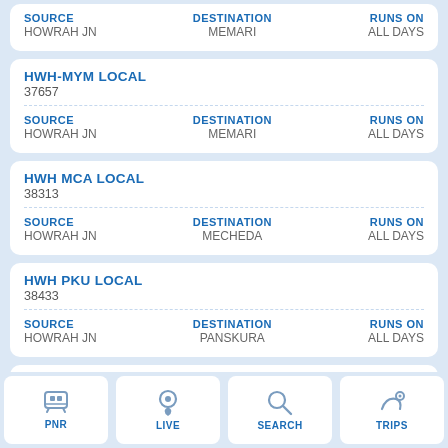SOURCE: HOWRAH JN | DESTINATION: MEMARI | RUNS ON: ALL DAYS
HWH-MYM LOCAL
37657
SOURCE: HOWRAH JN | DESTINATION: MEMARI | RUNS ON: ALL DAYS
HWH MCA LOCAL
38313
SOURCE: HOWRAH JN | DESTINATION: MECHEDA | RUNS ON: ALL DAYS
HWH PKU LOCAL
38433
SOURCE: HOWRAH JN | DESTINATION: PANSKURA | RUNS ON: ALL DAYS
HWH ... LOCAL
38...
PNR | LIVE | SEARCH | TRIPS